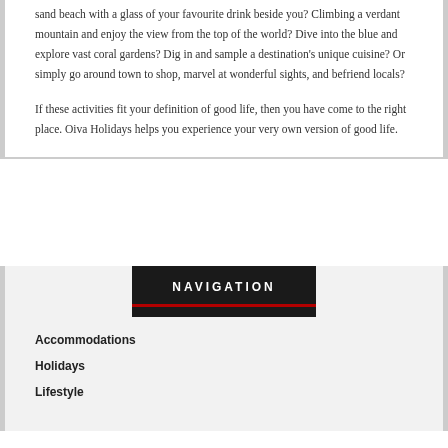sand beach with a glass of your favourite drink beside you? Climbing a verdant mountain and enjoy the view from the top of the world? Dive into the blue and explore vast coral gardens? Dig in and sample a destination's unique cuisine? Or simply go around town to shop, marvel at wonderful sights, and befriend locals?
If these activities fit your definition of good life, then you have come to the right place. Oiva Holidays helps you experience your very own version of good life.
NAVIGATION
Accommodations
Holidays
Lifestyle